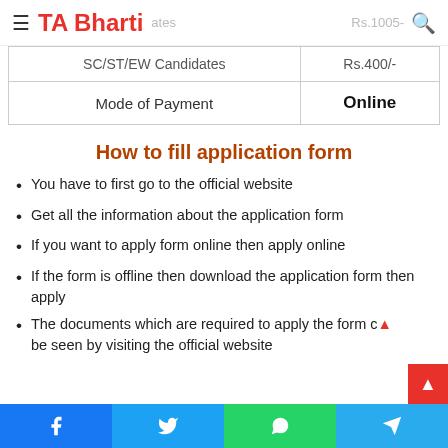TA Bharti
| Status | Fees |
| --- | --- |
| SC/ST/EW Candidates | Rs.400/- |
| Mode of Payment | Online |
How to fill application form
You have to first go to the official website
Get all the information about the application form
If you want to apply form online then apply online
If the form is offline then download the application form then apply
The documents which are required to apply the form can be seen by visiting the official website
Facebook | Twitter | WhatsApp | Telegram